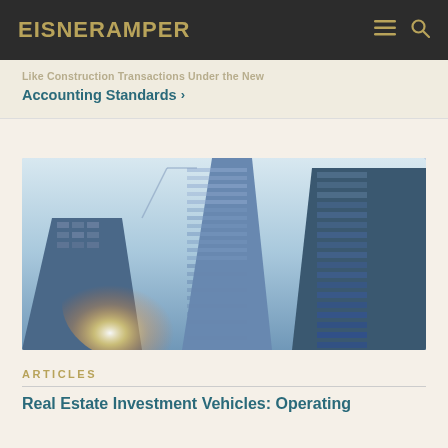EisnerAmper
Accounting Standards >
[Figure (photo): Upward-angle photograph of tall modern glass skyscrapers against a bright sky, with sunlight flare visible]
ARTICLES
Real Estate Investment Vehicles: Operating